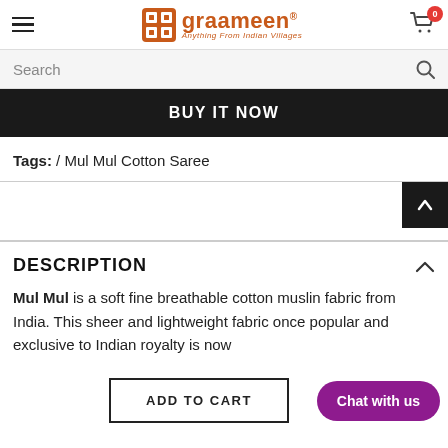graameen® Anything From Indian Villages
Search
BUY IT NOW
Tags: / Mul Mul Cotton Saree
DESCRIPTION
Mul Mul is a soft fine breathable cotton muslin fabric from India. This sheer and lightweight fabric once popular and exclusive to Indian royalty is now...
ADD TO CART
Chat with us